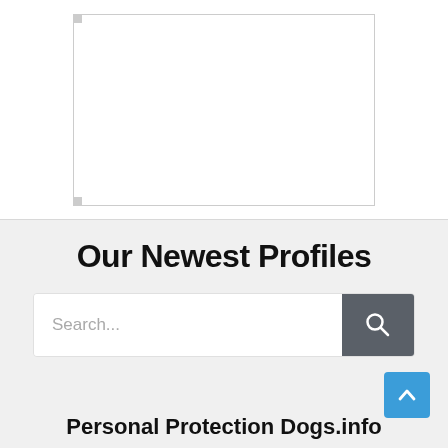[Figure (other): Empty white image placeholder with a thin gray border and small corner marks at top-left and bottom-left]
Our Newest Profiles
[Figure (screenshot): Search bar with white input field showing placeholder text 'Search...' and a dark gray search button with a magnifying glass icon]
Personal Protection Dogs.info